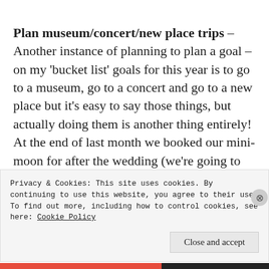Plan museum/concert/new place trips – Another instance of planning to plan a goal – on my 'bucket list' goals for this year is to go to a museum, go to a concert and go to a new place but it's easy to say those things, but actually doing them is another thing entirely! At the end of last month we booked our mini-moon for after the wedding (we're going to go on a proper honeymoon when it's not November and the weather will be nicer) and it's a place neither of us have been before, so that's the planning for that one ticked off! The concert. I've not seen that
Privacy & Cookies: This site uses cookies. By continuing to use this website, you agree to their use.
To find out more, including how to control cookies, see here: Cookie Policy
Close and accept